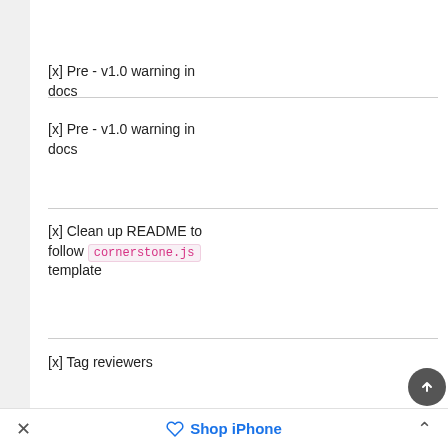[x] Pre - v1.0 warning in docs
[x] Clean up README to follow cornerstone.js template
[x] Tag reviewers
× Shop iPhone ^